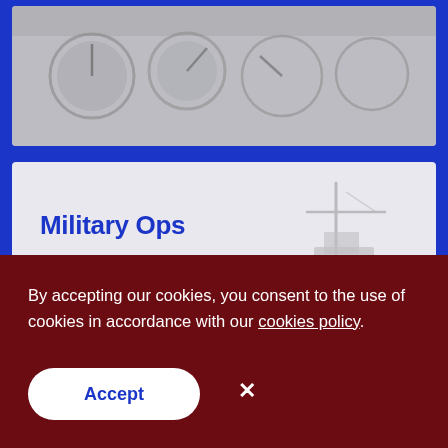[Figure (photo): Top card showing cockpit instrument panel photo with dark gauges, partially visible, light gray background]
[Figure (photo): Military Ops card with light gray background and faded military ship/vessel silhouette on the right side]
Military Ops
By accepting our cookies, you consent to the use of cookies in accordance with our cookies policy.
Accept
×